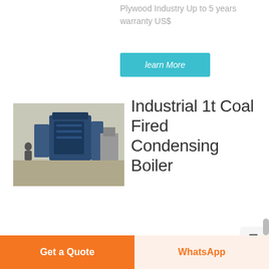Plywood Industry Up to 5 years warranty US$
learn More
[Figure (photo): Industrial boiler equipment inside a factory or warehouse setting]
Industrial 1t Coal Fired Condensing Boiler
Industrial Hot Selling 1t Coal Condensing Boiler Tajikistan low price 6t natural gas boiler industrial brunei. High Steam Quality
Get a Quote
WhatsApp